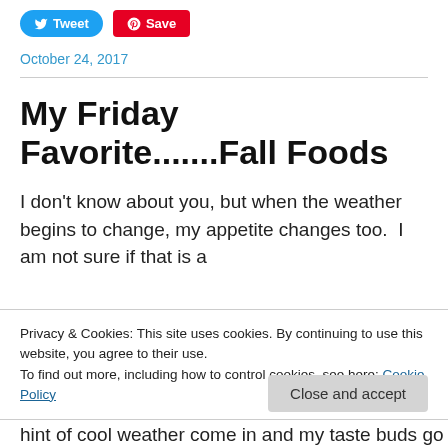Tweet  Save
October 24, 2017
My Friday Favorite.......Fall Foods
I don't know about you, but when the weather begins to change, my appetite changes too.  I am not sure if that is a
Privacy & Cookies: This site uses cookies. By continuing to use this website, you agree to their use.
To find out more, including how to control cookies, see here: Cookie Policy
Close and accept
hint of cool weather come in and my taste buds go into